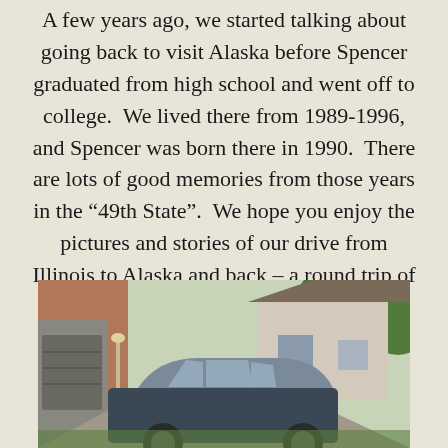A few years ago, we started talking about going back to visit Alaska before Spencer graduated from high school and went off to college.  We lived there from 1989-1996, and Spencer was born there in 1990.  There are lots of good memories from those years in the “49th State”.  We hope you enjoy the pictures and stories of our drive from Illinois to Alaska and back – a round trip of some 9,500 miles.  Here we go!
[Figure (photo): A vehicle (SUV or van) parked in front of a brick house with garage, trees visible in background, suburban neighborhood setting]